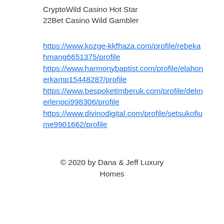CryptoWild Casino Hot Star
22Bet Casino Wild Gambler
https://www.kozge-kkfhaza.com/profile/rebekahmang6651375/profile https://www.harmonybaptist.com/profile/elahonerkamp15448287/profile https://www.bespoketimberuk.com/profile/delmerlenoci998306/profile https://www.divinodigital.com/profile/setsukofiume9901662/profile
© 2020 by Dana & Jeff Luxury Homes